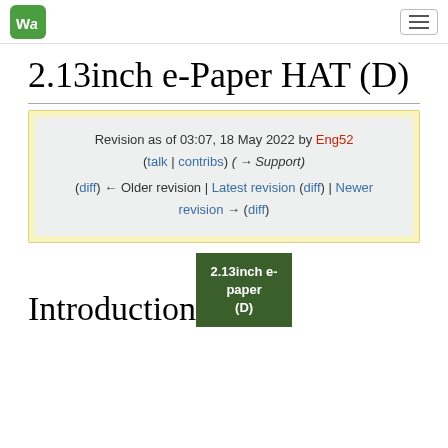Waveshare wiki header with logo and menu
2.13inch e-Paper HAT (D)
Revision as of 03:07, 18 May 2022 by Eng52 (talk | contribs) (→Support)
(diff) ← Older revision | Latest revision (diff) | Newer revision → (diff)
Introduction
2.13inch e-paper (D)